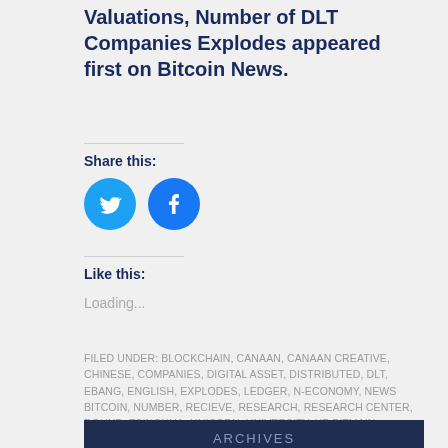Valuations, Number of DLT Companies Explodes appeared first on Bitcoin News.
Share this:
[Figure (illustration): Twitter and Facebook share icon buttons (circular, blue)]
Like this:
Loading...
FILED UNDER: BLOCKCHAIN, CANAAN, CANAAN CREATIVE, CHINESE, COMPANIES, DIGITAL ASSET, DISTRIBUTED, DLT, EBANG, ENGLISH, EXPLODES, LEDGER, N-ECONOMY, NEWS BITCOIN, NUMBER, RECIEVE, RESEARCH, RESEARCH CENTER, ROUND, TSINGHUA, UNICORN, UNIVERSITY, UP BITMAIN, VALUATIONS
ARCHIVES